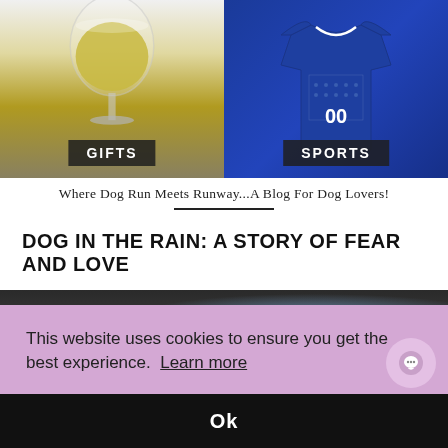[Figure (photo): Two product images side by side: left shows a wine glass with golden liquid labeled GIFTS; right shows a blue sports jersey labeled SPORTS]
Where Dog Run Meets Runway...A Blog For Dog Lovers!
DOG IN THE RAIN: A STORY OF FEAR AND LOVE
[Figure (photo): Partial photo of a dog outdoors in what appears to be a rainy setting]
This website uses cookies to ensure you get the best experience.  Learn more
Ok